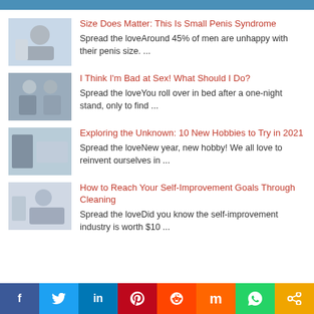Size Does Matter: This Is Small Penis Syndrome — Spread the loveAround 45% of men are unhappy with their penis size. ...
I Think I'm Bad at Sex! What Should I Do? — Spread the loveYou roll over in bed after a one-night stand, only to find ...
Exploring the Unknown: 10 New Hobbies to Try in 2021 — Spread the loveNew year, new hobby! We all love to reinvent ourselves in ...
How to Reach Your Self-Improvement Goals Through Cleaning — Spread the loveDid you know the self-improvement industry is worth $10 ...